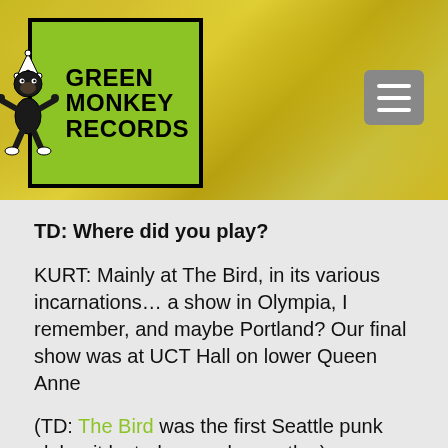[Figure (logo): Green Monkey Records logo - green box with black border, cartoon monkey jester figure, text reading GREEN MONKEY RECORDS in bold black]
TD: Where did you play?
KURT: Mainly at The Bird, in its various incarnations… a show in Olympia, I remember, and maybe Portland? Our final show was at UCT Hall on lower Queen Anne
(TD: The Bird was the first Seattle punk club – it lasted a couple months.)
TD: Were the album tracks recorded before your single?